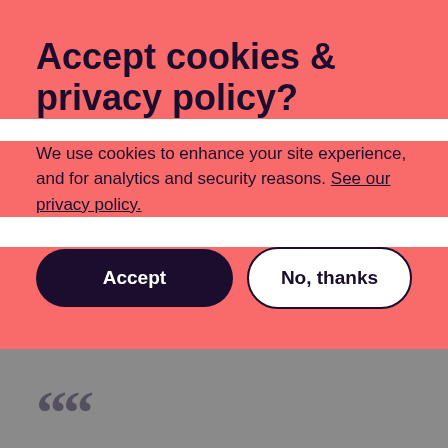Accept cookies & privacy policy?
We use cookies to enhance your site experience, and for analytics and security reasons. See our privacy policy.
Accept | No, thanks
““
National